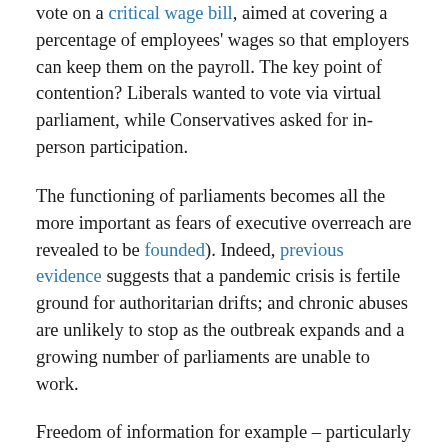vote on a critical wage bill, aimed at covering a percentage of employees' wages so that employers can keep them on the payroll. The key point of contention? Liberals wanted to vote via virtual parliament, while Conservatives asked for in-person participation.
The functioning of parliaments becomes all the more important as fears of executive overreach are revealed to be founded). Indeed, previous evidence suggests that a pandemic crisis is fertile ground for authoritarian drifts; and chronic abuses are unlikely to stop as the outbreak expands and a growing number of parliaments are unable to work.
Freedom of information for example – particularly relevant during such crises – is under assault. The Global Right to Information Rating shows that since the beginning of the coronavirus outbreak, countries on multiple continents